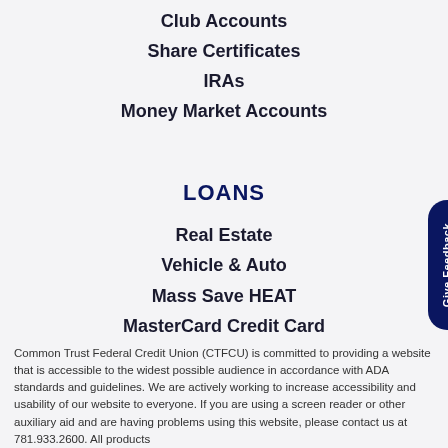Club Accounts
Share Certificates
IRAs
Money Market Accounts
LOANS
Real Estate
Vehicle & Auto
Mass Save HEAT
MasterCard Credit Card
Common Trust Federal Credit Union (CTFCU) is committed to providing a website that is accessible to the widest possible audience in accordance with ADA standards and guidelines. We are actively working to increase accessibility and usability of our website to everyone. If you are using a screen reader or other auxiliary aid and are having problems using this website, please contact us at 781.933.2600. All products